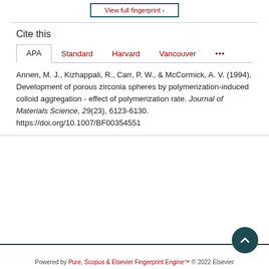[Figure (other): View full fingerprint button (partially visible at top)]
Cite this
APA  Standard  Harvard  Vancouver  ...
Annen, M. J., Kizhappali, R., Carr, P. W., & McCormick, A. V. (1994). Development of porous zirconia spheres by polymerization-induced colloid aggregation - effect of polymerization rate. Journal of Materials Science, 29(23), 6123-6130. https://doi.org/10.1007/BF00354551
Powered by Pure, Scopus & Elsevier Fingerprint Engine™ © 2022 Elsevier